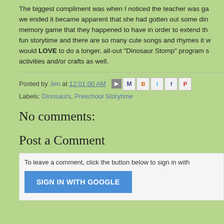The biggest compliment was when I noticed the teacher was ga... we ended it became apparent that she had gotten out some din... memory game that they happened to have in order to extend th... fun storytime and there are so many cute songs and rhymes it w... would LOVE to do a longer, all-out "Dinosaur Stomp" program s... activities and/or crafts as well.
Posted by Jen at 12:01:00 AM
Labels: Dinosaurs, Preschool Storytime
No comments:
Post a Comment
To leave a comment, click the button below to sign in with...
SIGN IN WITH GOOGLE